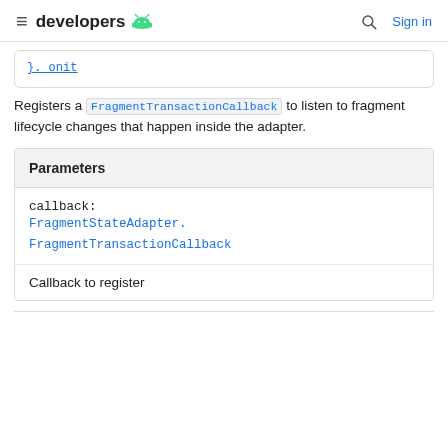developers [android logo]  Sign in
}. onit
Registers a FragmentTransactionCallback to listen to fragment lifecycle changes that happen inside the adapter.
Parameters
callback: FragmentStateAdapter.FragmentTransactionCallback
Callback to register